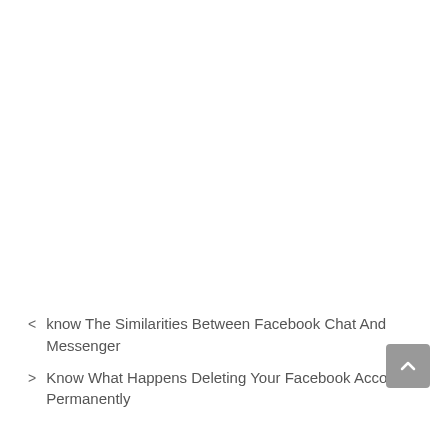< know The Similarities Between Facebook Chat And Messenger
> Know What Happens Deleting Your Facebook Account Permanently